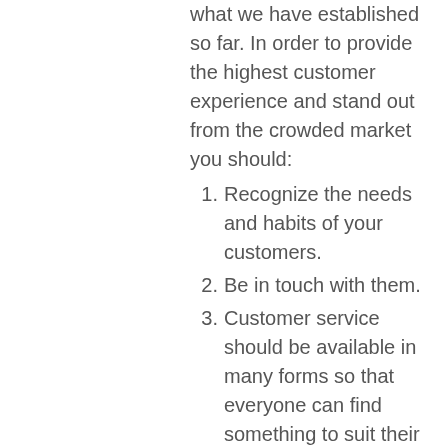what we have established so far. In order to provide the highest customer experience and stand out from the crowded market you should:
Recognize the needs and habits of your customers.
Be in touch with them.
Customer service should be available in many forms so that everyone can find something to suit their needs.
Be visible in the search engine.